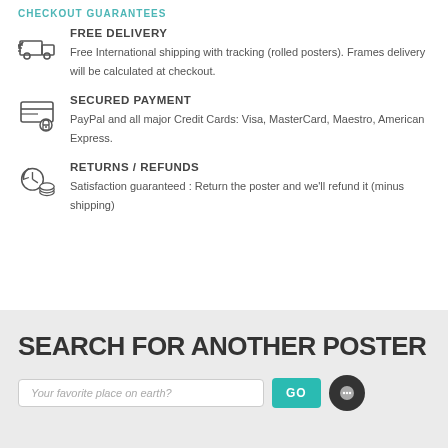CHECKOUT GUARANTEE
FREE DELIVERY
Free International shipping with tracking (rolled posters). Frames delivery will be calculated at checkout.
SECURED PAYMENT
PayPal and all major Credit Cards: Visa, MasterCard, Maestro, American Express.
RETURNS / REFUNDS
Satisfaction guaranteed : Return the poster and we'll refund it (minus shipping)
SEARCH FOR ANOTHER POSTER
Your favorite place on earth?